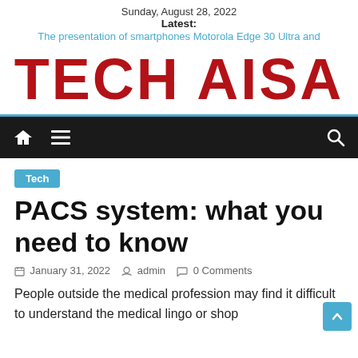Sunday, August 28, 2022
Latest:
The presentation of smartphones Motorola Edge 30 Ultra and
[Figure (logo): Tech Aisa logo in bold dark red/crimson text on white background]
[Figure (screenshot): Navigation bar with home icon, hamburger menu icon on left, and search icon on right, dark background]
Tech
PACS system: what you need to know
January 31, 2022  admin  0 Comments
People outside the medical profession may find it difficult to understand the medical lingo or shop